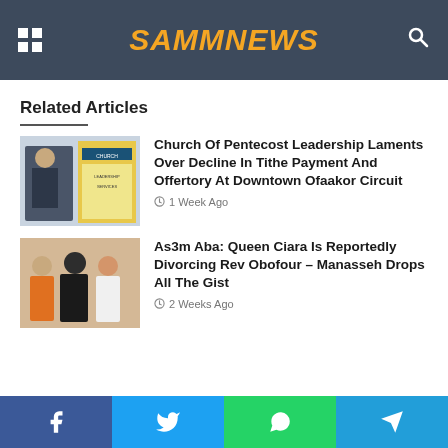SAMMNEWS
Related Articles
[Figure (photo): Photo of a man speaking at a Church of Pentecost event]
Church Of Pentecost Leadership Laments Over Decline In Tithe Payment And Offertory At Downtown Ofaakor Circuit
1 Week Ago
[Figure (photo): Group photo of people including Rev Obofour and Queen Ciara]
As3m Aba: Queen Ciara Is Reportedly Divorcing Rev Obofour – Manasseh Drops All The Gist
2 Weeks Ago